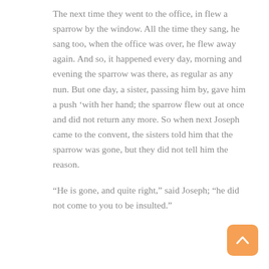The next time they went to the office, in flew a sparrow by the window. All the time they sang, he sang too, when the office was over, he flew away again. And so, it happened every day, morning and evening the sparrow was there, as regular as any nun. But one day, a sister, passing him by, gave him a push ‘with her hand; the sparrow flew out at once and did not return any more. So when next Joseph came to the convent, the sisters told him that the sparrow was gone, but they did not tell him the reason.
“He is gone, and quite right,” said Joseph; “he did not come to you to be insulted.”